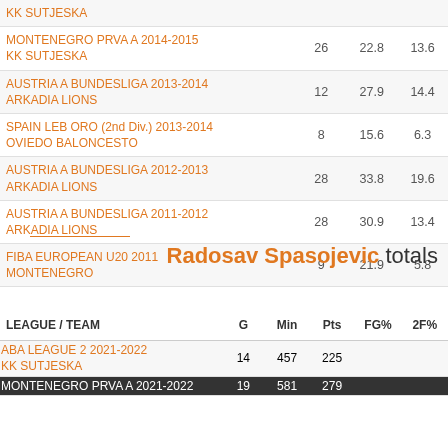| LEAGUE / TEAM | G | Min | Pts |
| --- | --- | --- | --- |
| KK SUTJESKA |  |  |  |
| MONTENEGRO PRVA A 2014-2015
KK SUTJESKA | 26 | 22.8 | 13.6 |
| AUSTRIA A BUNDESLIGA 2013-2014
ARKADIA LIONS | 12 | 27.9 | 14.4 |
| SPAIN LEB ORO (2nd Div.) 2013-2014
OVIEDO BALONCESTO | 8 | 15.6 | 6.3 |
| AUSTRIA A BUNDESLIGA 2012-2013
ARKADIA LIONS | 28 | 33.8 | 19.6 |
| AUSTRIA A BUNDESLIGA 2011-2012
ARKADIA LIONS | 28 | 30.9 | 13.4 |
| FIBA EUROPEAN U20 2011
MONTENEGRO | 9 | 21.9 | 5.8 |
Radosav Spasojevic totals
| LEAGUE / TEAM | G | Min | Pts | FG% | 2F% |
| --- | --- | --- | --- | --- | --- |
| ABA LEAGUE 2 2021-2022
KK SUTJESKA | 14 | 457 | 225 |  |  |
| MONTENEGRO PRVA A 2021-2022 | 19 | 581 | 279 |  |  |